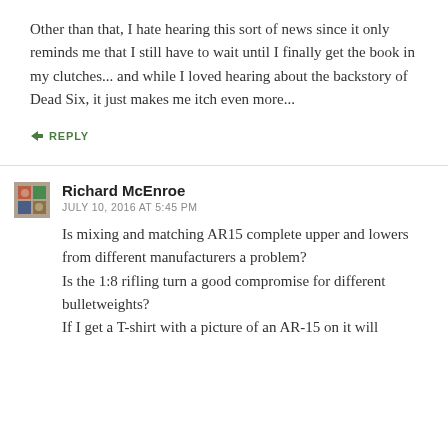Other than that, I hate hearing this sort of news since it only reminds me that I still have to wait until I finally get the book in my clutches... and while I loved hearing about the backstory of Dead Six, it just makes me itch even more...
↳ REPLY
Richard McEnroe
JULY 10, 2016 AT 5:45 PM
Is mixing and matching AR15 complete upper and lowers from different manufacturers a problem?
Is the 1:8 rifling turn a good compromise for different bulletweights?
If I get a T-shirt with a picture of an AR-15 on it will